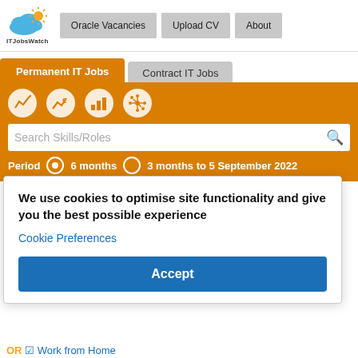[Figure (logo): ITJobsWatch logo with cloud and sun icon]
Oracle Vacancies | Upload CV | About
Permanent IT Jobs | Contract IT Jobs
[Figure (infographic): Four white circle icons on orange bar: trend chart, salary chart, bar chart, network/spider]
Search Skills/Roles
Period  6 months  3 months to 5 September 2022
The table below provides summary statistics for permanent job
We use cookies to optimise site functionality and give you the best possible experience
Cookie Preferences
Accept
s and/or ered in ember years. and are
Work from Home